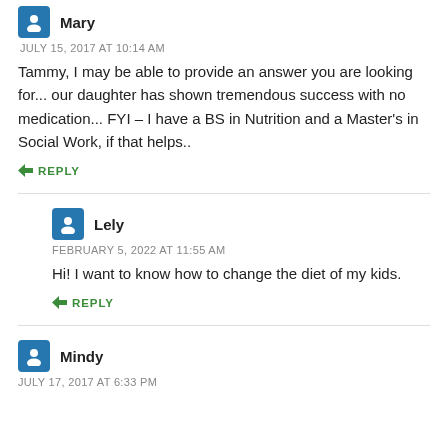Mary
JULY 15, 2017 AT 10:14 AM
Tammy, I may be able to provide an answer you are looking for... our daughter has shown tremendous success with no medication... FYI – I have a BS in Nutrition and a Master's in Social Work, if that helps..
REPLY
Lely
FEBRUARY 5, 2022 AT 11:55 AM
Hi! I want to know how to change the diet of my kids.
REPLY
Mindy
JULY 17, 2017 AT 6:33 PM